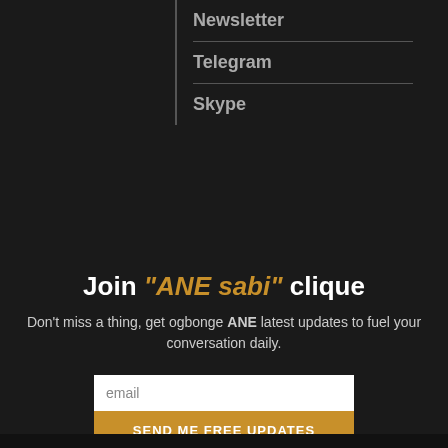Newsletter
Telegram
Skype
Join "ANE sabi" clique
Don't miss a thing, get ogbonge ANE latest updates to fuel your conversation daily.
email
SEND ME FREE UPDATES
[Figure (illustration): Social media icons: Facebook, Twitter, Instagram, TikTok, YouTube]
X